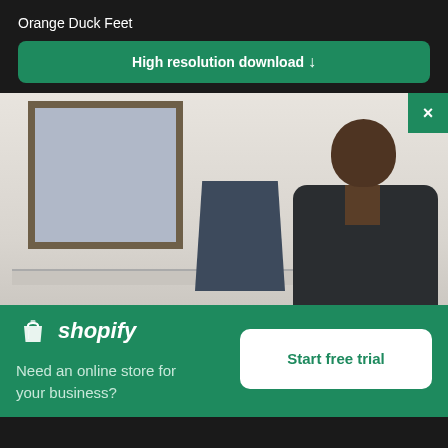Orange Duck Feet
High resolution download ↓
[Figure (photo): A man sitting at a desk looking at a laptop, with a window in the background showing a brick building exterior. Office setting with white walls.]
[Figure (logo): Shopify logo: white shopping bag icon followed by italic white text 'shopify']
Need an online store for your business?
Start free trial